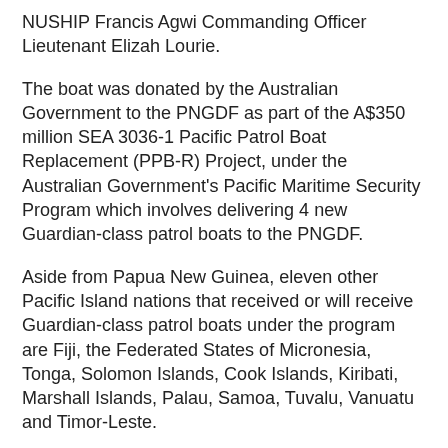NUSHIP Francis Agwi Commanding Officer Lieutenant Elizah Lourie.
The boat was donated by the Australian Government to the PNGDF as part of the A$350 million SEA 3036-1 Pacific Patrol Boat Replacement (PPB-R) Project, under the Australian Government's Pacific Maritime Security Program which involves delivering 4 new Guardian-class patrol boats to the PNGDF.
Aside from Papua New Guinea, eleven other Pacific Island nations that received or will receive Guardian-class patrol boats under the program are Fiji, the Federated States of Micronesia, Tonga, Solomon Islands, Cook Islands, Kiribati, Marshall Islands, Palau, Samoa, Tuvalu, Vanuatu and Timor-Leste.
These countries will receive the vessels from Australia through to 2023.
No date has been set yet on the commissioning of the patrol boat with the PNGDF.